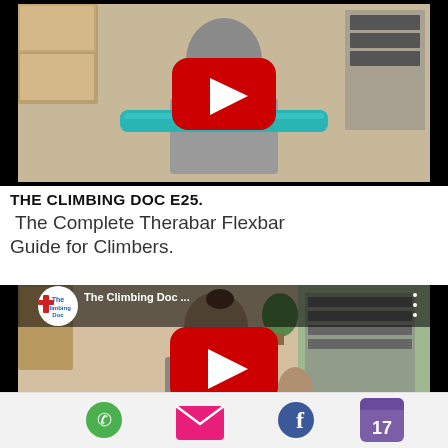[Figure (screenshot): YouTube video thumbnail showing a woman holding a teal Therabar Flexbar in a kitchen setting, with a YouTube play button overlay. This is Episode 25 of The Climbing Doc.]
THE CLIMBING DOC E25. The Complete Therabar Flexbar Guide for Climbers.
[Figure (screenshot): YouTube video thumbnail showing The Climbing Doc channel logo (circular, blue and red cross/figure) and a woman speaking to camera about climbing topics, with YouTube play button overlay. Title shows 'The Climbing Doc ...']
[Figure (infographic): Mobile app bottom navigation bar with four icons: phone (green), email/envelope (pink), Facebook (blue), and calendar/date (purple with '17').]